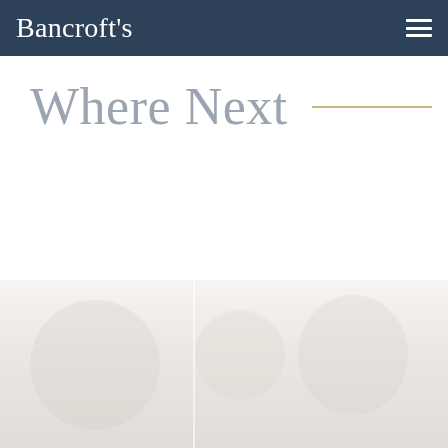Bancroft's
Where Next
[Figure (photo): Faint/washed-out photograph strip at the bottom of the page showing what appears to be group or portrait images, very light and desaturated]